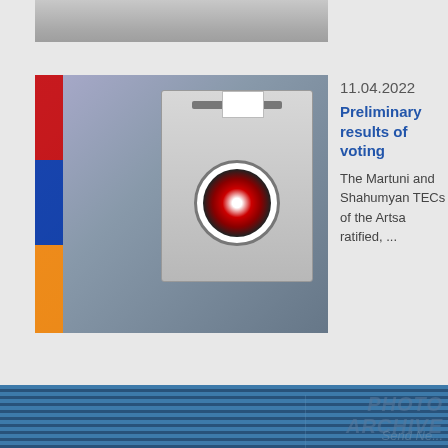[Figure (photo): Partial top image of ballot box or voting scene (cropped)]
11.04.2022
Preliminary results of voting
The Martuni and Shahumyan TECs of the Artsa ratified, ...
[Figure (photo): Photo of a ballot box with Armenian flags and official seal]
[Figure (photo): PHOTO ARCHIVE section in the dark blue footer area]
Send Ne...